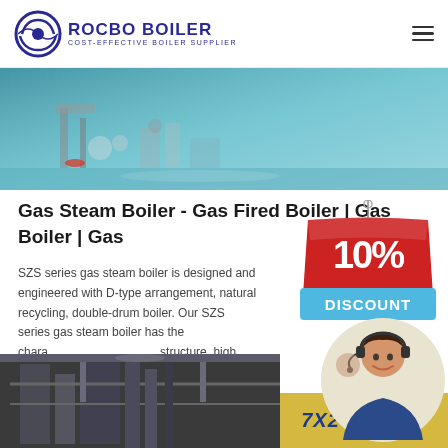ROCBO BOILER - COST-EFFECTIVE BOILER SUPPLIER
[Figure (photo): Industrial boiler/machinery equipment photo with teal/blue toned lighting]
Gas Steam Boiler - Gas Fired Boiler | Gas Boiler | Gas
SZS series gas steam boiler is designed and engineered with D-type arrangement, natural recycling, double-drum boiler. Our SZS series gas steam boiler has the characteristics of compact structure, high burning efficiency, longitudinal drum, full membrane...
[Figure (illustration): 10% DISCOUNT badge/sticker overlay]
[Figure (photo): Customer service representative with headset smiling]
[Figure (photo): Bottom industrial boiler/building photo]
7X24 Online